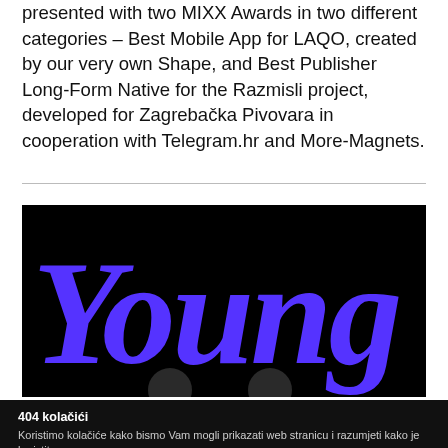presented with two MIXX Awards in two different categories – Best Mobile App for LAQO, created by our very own Shape, and Best Publisher Long-Form Native for the Razmisli project, developed for Zagrebačka Pivovara in cooperation with Telegram.hr and More-Magnets.
[Figure (illustration): Black background with large italic bold purple/blue text reading 'Young' in a serif display font, with two dark circular shapes partially visible at the bottom.]
404 kolačići
Koristimo kolačiće kako bismo Vam mogli prikazati web stranicu i razumjeti kako je koristite.
Postavke
Prihvaćam